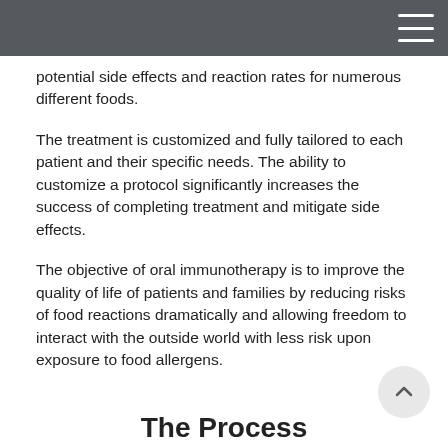potential side effects and reaction rates for numerous different foods.
The treatment is customized and fully tailored to each patient and their specific needs. The ability to customize a protocol significantly increases the success of completing treatment and mitigate side effects.
The objective of oral immunotherapy is to improve the quality of life of patients and families by reducing risks of food reactions dramatically and allowing freedom to interact with the outside world with less risk upon exposure to food allergens.
The Process